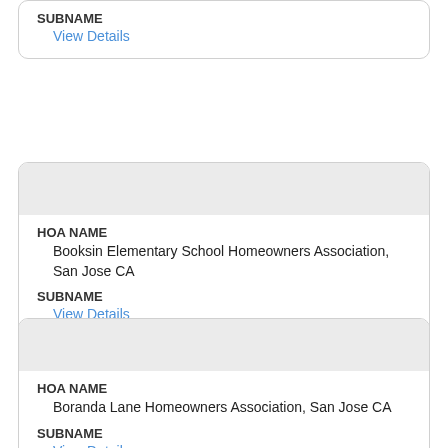SUBNAME
View Details
HOA NAME
Booksin Elementary School Homeowners Association, San Jose CA
SUBNAME
View Details
HOA NAME
Boranda Lane Homeowners Association, San Jose CA
SUBNAME
View Details